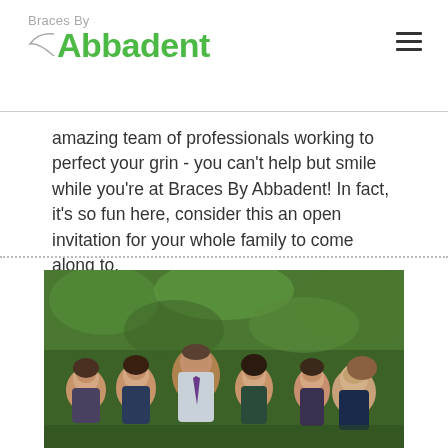Braces By Abbadent
amazing team of professionals working to perfect your grin - you can’t help but smile while you’re at Braces By Abbadent! In fact, it’s so fun here, consider this an open invitation for your whole family to come along to.
[Figure (photo): Group photo of dental team members standing outdoors in front of green foliage, including several women and a man in a suit with tie, all smiling]